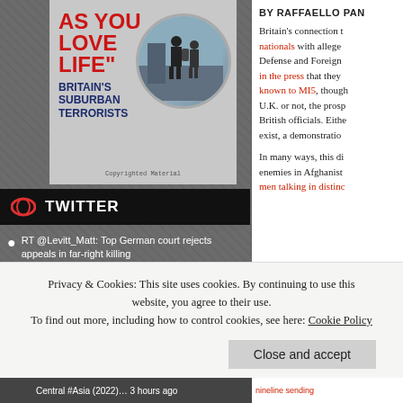[Figure (illustration): Book cover showing red bold text 'AS YOU LOVE LIFE' with subtitle 'BRITAIN'S SUBURBAN TERRORISTS' and a circular CCTV image of people]
TWITTER
RT @Levitt_Matt: Top German court rejects appeals in far-right killing apnews.com/article/crime-… 40 minutes ago
RT @EnodoEconomics: 1/6 @EnodoEconomics recommendations for your #SummerReadingList. #Politics & #Security https://t.co/li3mkSliBg
BY RAFFAELLO PAN
Britain's connection t nationals with alleged Defense and Foreign in the press that they known to MI5, though U.K. or not, the prosp British officials. Eith exist, a demonstratio
In many ways, this di enemies in Afghanist men talking in disting
Privacy & Cookies: This site uses cookies. By continuing to use this website, you agree to their use. To find out more, including how to control cookies, see here: Cookie Policy
Close and accept
Central #Asia (2022)… 3 hours ago
nineline sending